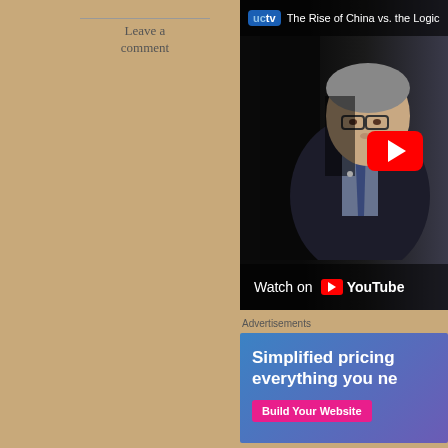Leave a comment
[Figure (screenshot): YouTube video embed showing UCTV presentation titled 'The Rise of China vs. the Logic of S...' with a man in a dark suit and tie, red YouTube play button overlay, and 'Watch on YouTube' bar at bottom]
Advertisements
[Figure (screenshot): Advertisement banner with blue/purple gradient background showing text 'Simplified pricing everything you ne...' and a pink 'Build Your Website' button]